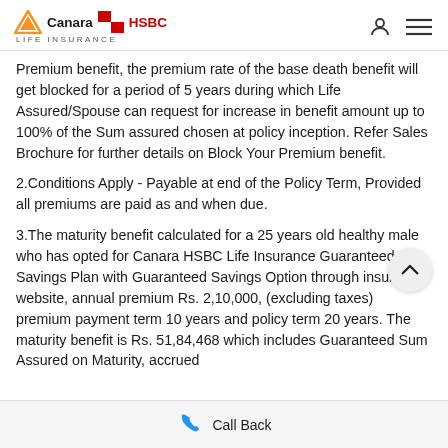Canara HSBC Life Insurance
Premium benefit, the premium rate of the base death benefit will get blocked for a period of 5 years during which Life Assured/Spouse can request for increase in benefit amount up to 100% of the Sum assured chosen at policy inception. Refer Sales Brochure for further details on Block Your Premium benefit.
2.Conditions Apply - Payable at end of the Policy Term, Provided all premiums are paid as and when due.
3.The maturity benefit calculated for a 25 years old healthy male who has opted for Canara HSBC Life Insurance Guaranteed Savings Plan with Guaranteed Savings Option through insurer's website, annual premium Rs. 2,10,000, (excluding taxes) premium payment term 10 years and policy term 20 years. The maturity benefit is Rs. 51,84,468 which includes Guaranteed Sum Assured on Maturity, accrued
Call Back